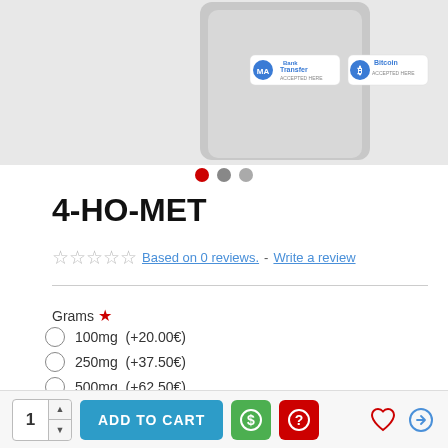[Figure (photo): Product image of 4-HO-MET in a silver/white pouch with Bank Transfer and Bitcoin accepted stickers visible on the package.]
4-HO-MET
☆ ☆ ☆ ☆ ☆ Based on 0 reviews. - Write a review
Grams *
100mg  (+20.00€)
250mg  (+37.50€)
500mg  (+62.50€)
1g  (+100.00€)
2g  (+191.05€)
3g  (+265.00€)
5g  (+420.00€)
1  ADD TO CART